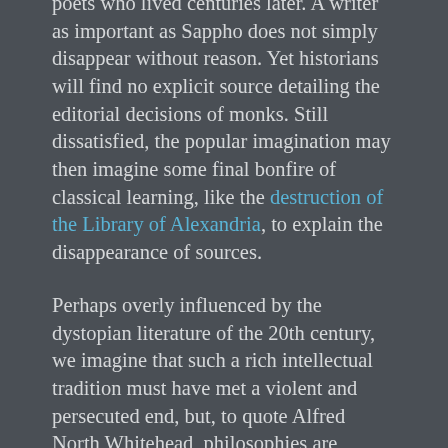poets who lived centuries later. A writer as important as Sappho does not simply disappear without reason. Yet historians will find no explicit source detailing the editorial decisions of monks. Still dissatisfied, the popular imagination may then imagine some final bonfire of classical learning, like the destruction of the Library of Alexandria, to explain the disappearance of sources.
Perhaps overly influenced by the dystopian literature of the 20th century, we imagine that such a rich intellectual tradition must have met a violent and persecuted end, but, to quote Alfred North Whitehead, philosophies are